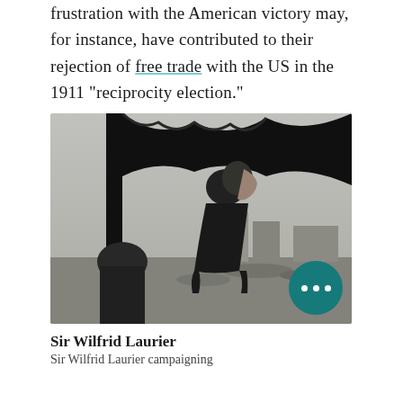frustration with the American victory may, for instance, have contributed to their rejection of free trade with the US in the 1911 "reciprocity election."
[Figure (photo): Black and white photograph of Sir Wilfrid Laurier campaigning, shown in profile/side view, with a decorative draped element in the upper portion and a town/city background visible.]
Sir Wilfrid Laurier
Sir Wilfrid Laurier campaigning